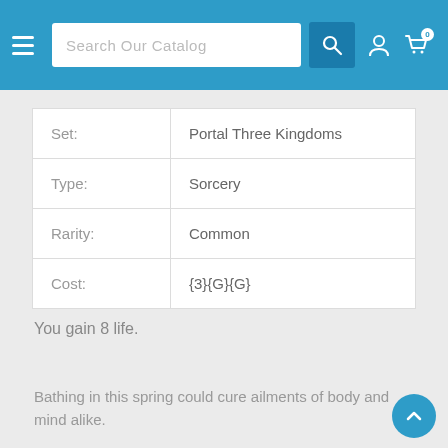Search Our Catalog
| Set: | Portal Three Kingdoms |
| Type: | Sorcery |
| Rarity: | Common |
| Cost: | {3}{G}{G} |
You gain 8 life.
Bathing in this spring could cure ailments of body and mind alike.